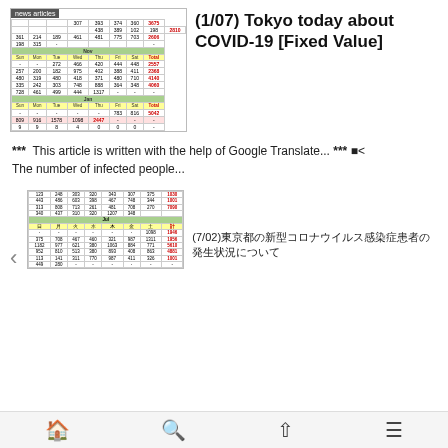[Figure (table-as-image): Thumbnail image of a COVID-19 data table with news articles tag, showing daily infection numbers for Tokyo across multiple months (Oct, Nov, Jan) with colored headers and total columns]
(1/07) Tokyo today about COVID-19 [Fixed Value]
***  This article is written with the help of Google Translate... *** ■< The number of infected people...
[Figure (table-as-image): Thumbnail image of a COVID-19 data table showing daily infection counts for Tokyo with green month headers and yellow day-of-week headers]
(7/02)東京都の新型コロナウイルス感染症患者の発生状況について
🏠 🔍 ↑ ☰